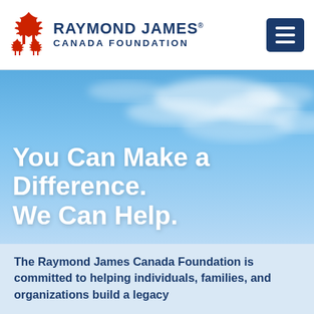[Figure (logo): Raymond James Canada Foundation logo with red maple leaves and dark navy text]
[Figure (photo): Blue sky with light clouds background for hero section]
You Can Make a Difference. We Can Help.
The Raymond James Canada Foundation is committed to helping individuals, families, and organizations build a legacy